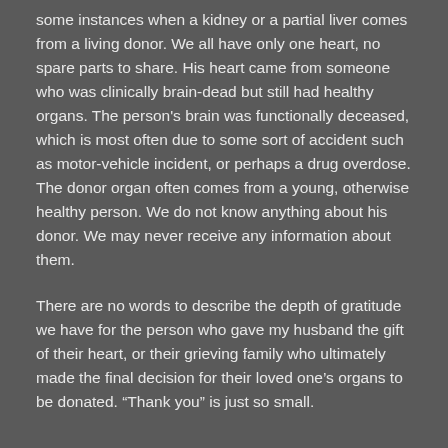some instances when a kidney or a partial liver comes from a living donor. We all have only one heart, no spare parts to share. His heart came from someone who was clinically brain-dead but still had healthy organs. The person's brain was functionally deceased, which is most often due to some sort of accident such as motor-vehicle incident, or perhaps a drug overdose. The donor organ often comes from a young, otherwise healthy person. We do not know anything about his donor. We may never receive any information about them.
There are no words to describe the depth of gratitude we have for the person who gave my husband the gift of their heart, or their grieving family who ultimately made the final decision for their loved one's organs to be donated. “Thank you” is just so small.